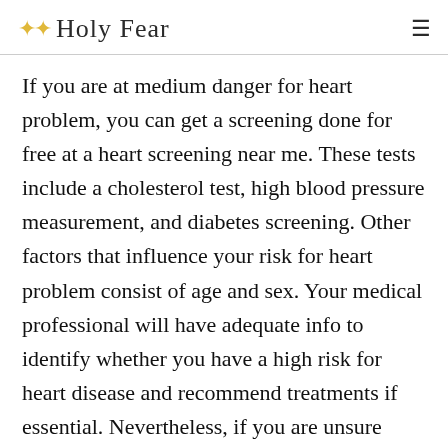Holy Fear
If you are at medium danger for heart problem, you can get a screening done for free at a heart screening near me. These tests include a cholesterol test, high blood pressure measurement, and diabetes screening. Other factors that influence your risk for heart problem consist of age and sex. Your medical professional will have adequate info to identify whether you have a high risk for heart disease and recommend treatments if essential. Nevertheless, if you are unsure whether you must get a heart